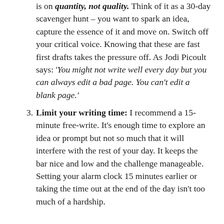is on quantity, not quality. Think of it as a 30-day scavenger hunt – you want to spark an idea, capture the essence of it and move on. Switch off your critical voice. Knowing that these are fast first drafts takes the pressure off. As Jodi Picoult says: 'You might not write well every day but you can always edit a bad page. You can't edit a blank page.'
Limit your writing time: I recommend a 15-minute free-write. It's enough time to explore an idea or prompt but not so much that it will interfere with the rest of your day. It keeps the bar nice and low and the challenge manageable. Setting your alarm clock 15 minutes earlier or taking the time out at the end of the day isn't too much of a hardship.